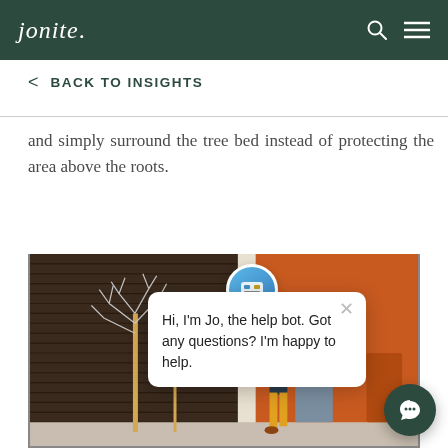jonite.
< BACK TO INSIGHTS
and simply surround the tree bed instead of protecting the area above the roots.
[Figure (photo): Street scene showing bare winter trees with golden poles next to a dark slatted wall and an orange building, with a person walking in yellow trousers. A chatbot popup from 'Jo' is overlaid on the image.]